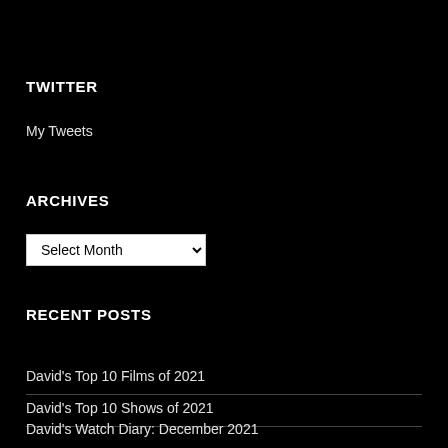TWITTER
My Tweets
ARCHIVES
Select Month (dropdown)
RECENT POSTS
David's Top 10 Films of 2021
David's Top 10 Shows of 2021
David's Watch Diary: December 2021